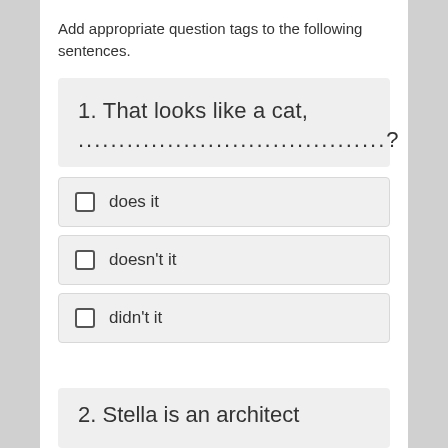Add appropriate question tags to the following sentences.
1. That looks like a cat, ......................................?
does it
doesn't it
didn't it
2. Stella is an architect